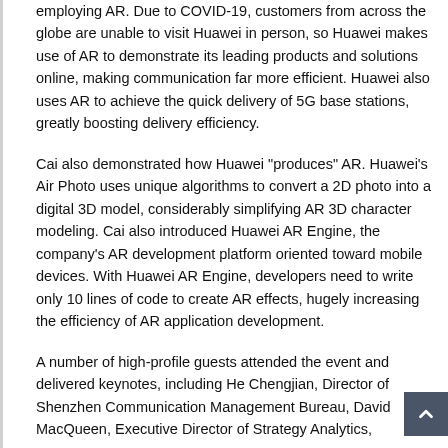employing AR. Due to COVID-19, customers from across the globe are unable to visit Huawei in person, so Huawei makes use of AR to demonstrate its leading products and solutions online, making communication far more efficient. Huawei also uses AR to achieve the quick delivery of 5G base stations, greatly boosting delivery efficiency.
Cai also demonstrated how Huawei "produces" AR. Huawei's Air Photo uses unique algorithms to convert a 2D photo into a digital 3D model, considerably simplifying AR 3D character modeling. Cai also introduced Huawei AR Engine, the company's AR development platform oriented toward mobile devices. With Huawei AR Engine, developers need to write only 10 lines of code to create AR effects, hugely increasing the efficiency of AR application development.
A number of high-profile guests attended the event and delivered keynotes, including He Chengjian, Director of Shenzhen Communication Management Bureau, David MacQueen, Executive Director of Strategy Analytics,